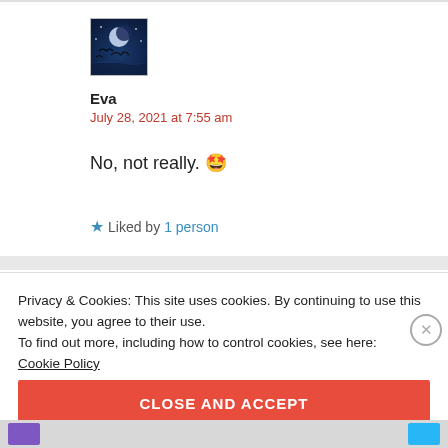[Figure (photo): User avatar thumbnail showing a nighttime scene with moon and silhouettes of birds/Santa sleigh]
Eva
July 28, 2021 at 7:55 am
No, not really. 🤩
★ Liked by 1 person
Privacy & Cookies: This site uses cookies. By continuing to use this website, you agree to their use. To find out more, including how to control cookies, see here: Cookie Policy
CLOSE AND ACCEPT